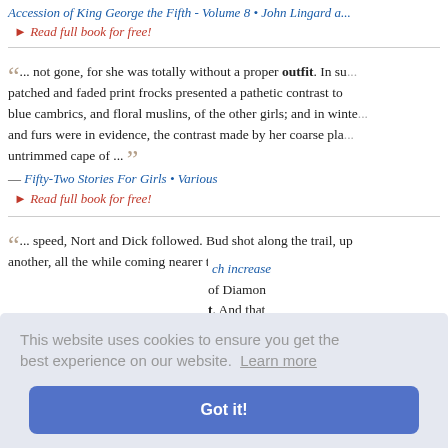Accession of King George the Fifth - Volume 8 • John Lingard a...
‣ Read full book for free!
... not gone, for she was totally without a proper outfit. In su... patched and faded print frocks presented a pathetic contrast to... blue cambrics, and floral muslins, of the other girls; and in winte... and furs were in evidence, the contrast made by her coarse pla... untrimmed cape of ... — Fifty-Two Stories For Girls • Various
‣ Read full book for free!
... speed, Nort and Dick followed. Bud shot along the trail, up... another, all the while coming nearer to the noise which increase... of Diamond... t. And that... by the sho... g the Yaqu...
This website uses cookies to ensure you get the best experience on our website. Learn more
Got it!